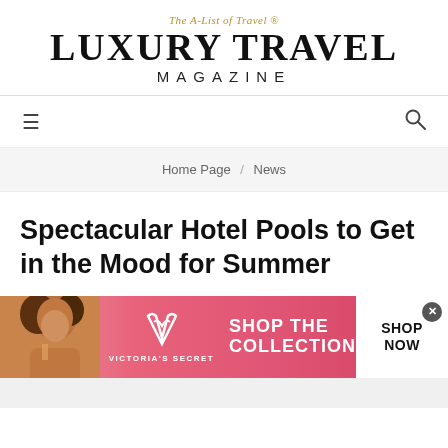The A-List of Travel ® LUXURY TRAVEL MAGAZINE
≡   🔍
Home Page / News
Spectacular Hotel Pools to Get in the Mood for Summer
[Figure (photo): Victoria's Secret advertisement banner with woman model, VS logo, 'SHOP THE COLLECTION' text and 'SHOP NOW' call-to-action button on pink background]